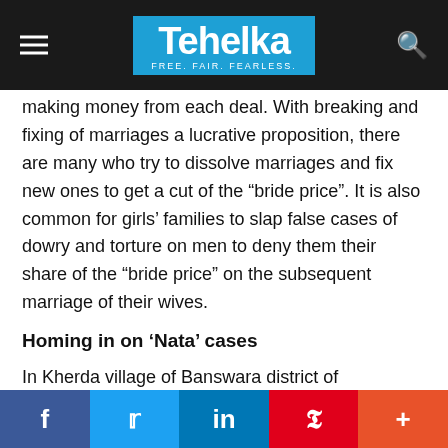Tehelka — FREE. FAIR. FEARLESS.
making money from each deal. With breaking and fixing of marriages a lucrative proposition, there are many who try to dissolve marriages and fix new ones to get a cut of the “bride price”. It is also common for girls’ families to slap false cases of dowry and torture on men to deny them their share of the “bride price” on the subsequent marriage of their wives.
Homing in on ‘Nata’ cases
In Kherda village of Banswara district of Rajasthan, Vimla (name changed) was married to Bhan Singh (name changed) 14 years ago. They had three children from the marriage. Bhan Singh was a labourer and Vimla looked after her three children at home. One day while returning from his work,
f  Twitter  in  Pinterest  +